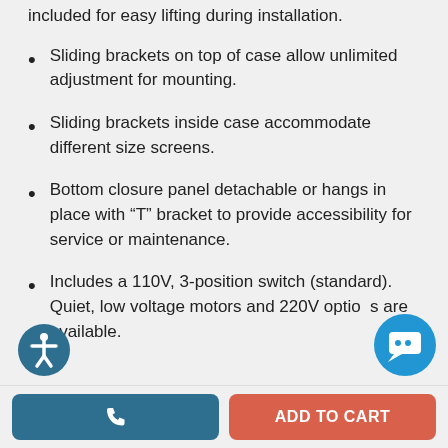included for easy lifting during installation.
Sliding brackets on top of case allow unlimited adjustment for mounting.
Sliding brackets inside case accommodate different size screens.
Bottom closure panel detachable or hangs in place with “T” bracket to provide accessibility for service or maintenance.
Includes a 110V, 3-position switch (standard). Quiet, low voltage motors and 220V options are available.